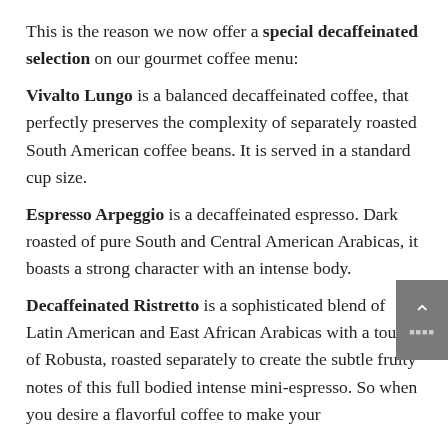This is the reason we now offer a special decaffeinated selection on our gourmet coffee menu:
Vivalto Lungo is a balanced decaffeinated coffee, that perfectly preserves the complexity of separately roasted South American coffee beans. It is served in a standard cup size.
Espresso Arpeggio is a decaffeinated espresso. Dark roasted of pure South and Central American Arabicas, it boasts a strong character with an intense body.
Decaffeinated Ristretto is a sophisticated blend of Latin American and East African Arabicas with a touch of Robusta, roasted separately to create the subtle fruity notes of this full bodied intense mini-espresso. So when you desire a flavorful coffee to make your